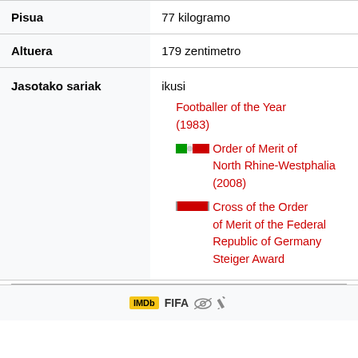| Field | Value |
| --- | --- |
| Pisua | 77 kilogramo |
| Altuera | 179 zentimetro |
| Jasotako sariak | ikusi
Footballer of the Year (1983)
[NRW medal] Order of Merit of North Rhine-Westphalia (2008)
[Federal medal] Cross of the Order of Merit of the Federal Republic of Germany
Steiger Award |
[Figure (other): Footer icons: IMDb logo, FIFA text, eye icon, pencil icon]